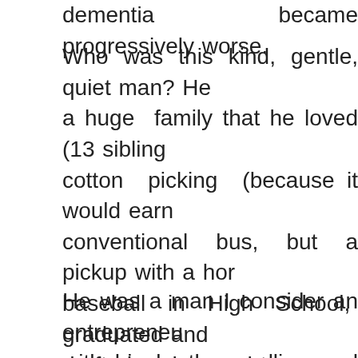dementia became progressively worse.
Who was this kind, gentle, quiet man? He a huge family that he loved (13 sibling cotton picking (because it would earn conventional bus, but a pickup with a hor baseball in High School, graduated and drafted and served two years in the arm life a month after he returned home, rais to new places, loved his girls and his gr vacations.
He was a man I consider an entrepreneu with his brother, selling and repairing TV when you consider the fact that “only 99